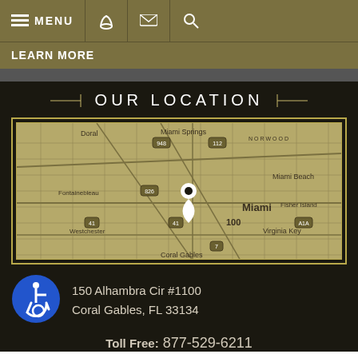≡ MENU
LEARN MORE
OUR LOCATION
[Figure (map): Map showing Miami area with location pin near downtown Miami. Shows neighborhoods including Doral, Miami Springs, Fontainebleau, Westchester, Miami Beach, Fisher Island, Virginia Key, and Coral Gables. Route markers visible: 948, 112, 826, 41, 100, 7, A1A.]
[Figure (illustration): Blue circle wheelchair accessibility icon]
150 Alhambra Cir #1100
Coral Gables, FL 33134
Toll Free: 877-529-6211